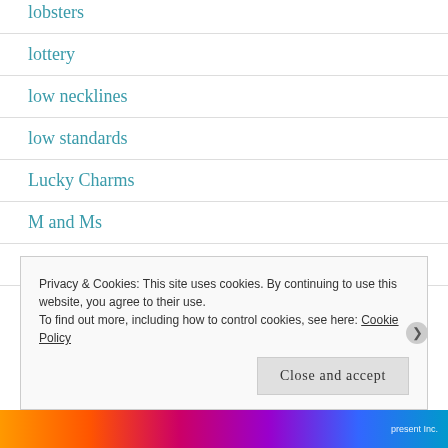lobsters
lottery
low necklines
low standards
Lucky Charms
M and Ms
make-up
Privacy & Cookies: This site uses cookies. By continuing to use this website, you agree to their use. To find out more, including how to control cookies, see here: Cookie Policy
Close and accept